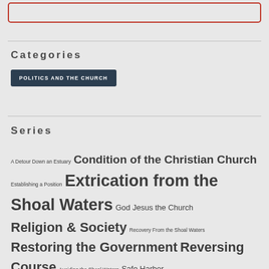Categories
POLITICS AND THE CHURCH
Series
A Detour Down an Estuary Condition of the Christian Church Establishing a Position Extrication from the Shoal Waters God Jesus the Church Religion & Society Recovery From the Shoal Waters Restoring the Government Reversing Course Avoiding the Shoal Waters Safe Harbor